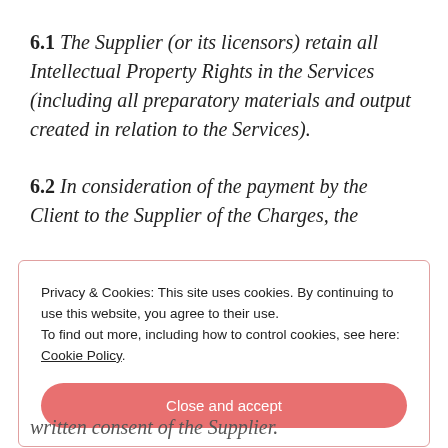6.1 The Supplier (or its licensors) retain all Intellectual Property Rights in the Services (including all preparatory materials and output created in relation to the Services).
6.2 In consideration of the payment by the Client to the Supplier of the Charges, the
Privacy & Cookies: This site uses cookies. By continuing to use this website, you agree to their use.
To find out more, including how to control cookies, see here:
Cookie Policy
Close and accept
written consent of the Supplier.